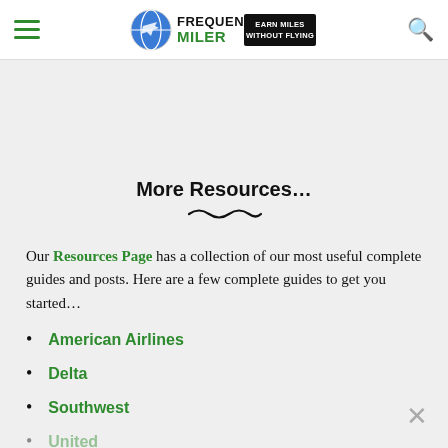Frequent Miler — Earn Miles Without Flying
More Resources…
Our Resources Page has a collection of our most useful complete guides and posts. Here are a few complete guides to get you started…
American Airlines
Delta
Southwest
United
Marriott